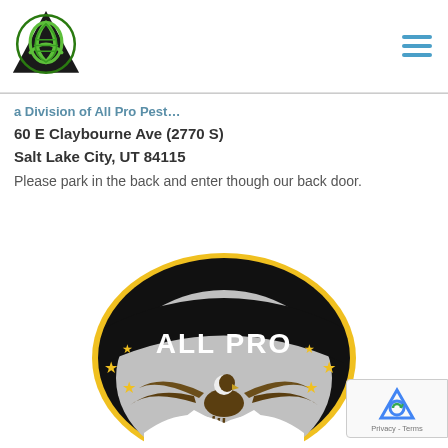[Figure (logo): Celtic/triquetra knot logo with green snake outline on black triangular background]
a Division of All Pro Pest (partial/truncated)
60 E Claybourne Ave (2770 S)
Salt Lake City, UT 84115
Please park in the back and enter though our back door.
[Figure (logo): All Pro circular badge logo with eagle and stars on black and yellow background]